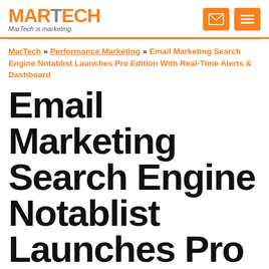MARTECH – MarTech is marketing.
MarTech » Performance Marketing » Email Marketing Search Engine Notablist Launches Pro Edition With Real-Time Alerts & Dashboard
Email Marketing Search Engine Notablist Launches Pro Edition With Real-Time Alerts & Dashboard